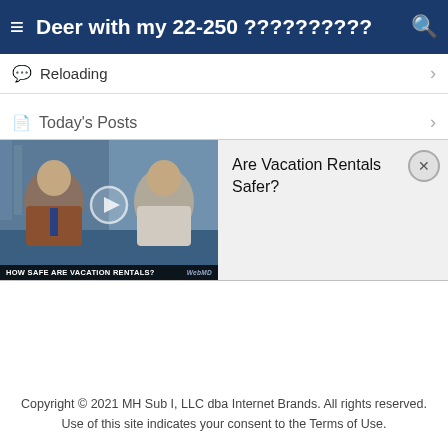≡ Deer with my 22-250 ?????????? 🔍
💬 Reloading
📄 Today's Posts
[Figure (screenshot): Video thumbnail showing two men in a video call or interview setting with caption 'HOW SAFE ARE VACATION RENTALS?' and WebMD logo]
Are Vacation Rentals Safer?
Copyright © 2021 MH Sub I, LLC dba Internet Brands. All rights reserved. Use of this site indicates your consent to the Terms of Use.